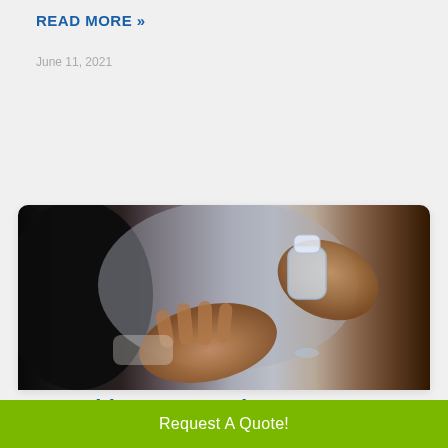READ MORE »
June 11, 2021
[Figure (photo): Hands applying hand sanitizer from a small clear bottle — one palm open, the other squeezing the bottle, blurred person in dark background]
Everything You Need to
Request A Quote!